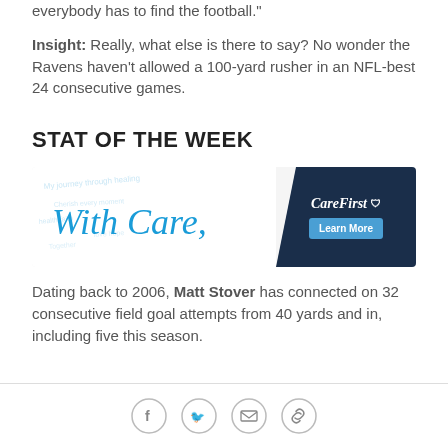everybody has to find the football."
Insight: Really, what else is there to say? No wonder the Ravens haven't allowed a 100-yard rusher in an NFL-best 24 consecutive games.
STAT OF THE WEEK
[Figure (other): CareFirst advertisement banner with cursive 'With Care,' text and a Learn More button]
Dating back to 2006, Matt Stover has connected on 32 consecutive field goal attempts from 40 yards and in, including five this season.
Social share icons: Facebook, Twitter, Email, Link